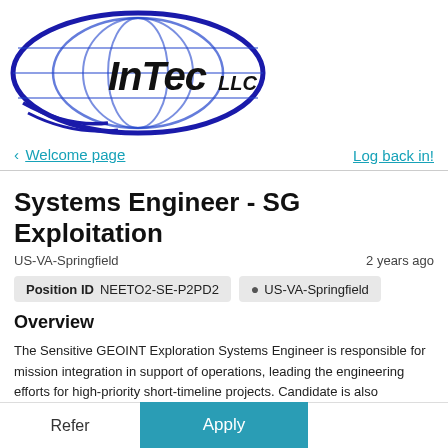[Figure (logo): InTec LLC company logo — blue oval with globe/grid pattern and bold italic 'InTec LLC' text in black on white background]
< Welcome page    Log back in!
Systems Engineer - SG Exploitation
US-VA-Springfield    2 years ago
Position ID  NEETO2-SE-P2PD2    US-VA-Springfield
Overview
The Sensitive GEOINT Exploration Systems Engineer is responsible for mission integration in support of operations, leading the engineering efforts for high-priority short-timeline projects. Candidate is also responsible for the development and
Refer    Apply